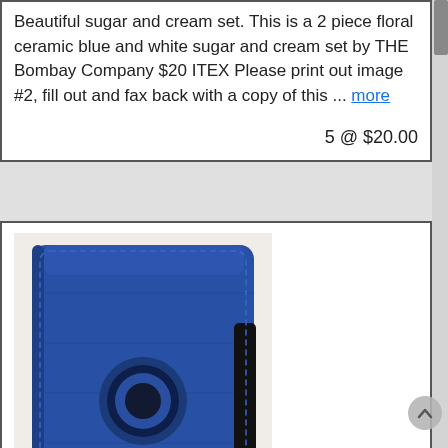Beautiful sugar and cream set. This is a 2 piece floral ceramic blue and white sugar and cream set by THE Bombay Company $20 ITEX Please print out image #2, fill out and fax back with a copy of this ... more
5 @ $20.00
[Figure (photo): Blue tablet case (iPad Mini case) in blue color with a circular cutout, shown closed with elastic band]
Blue Magic Girl Little Witch iPad Mini Case- MG02
Omaha, NE
PU leather case specifically designed to shelter your ipad mini dust, shock, scratches and bumps and